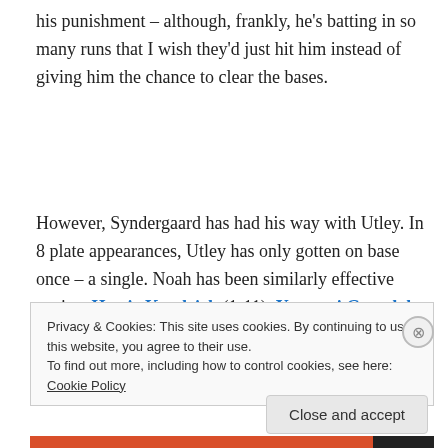his punishment – although, frankly, he's batting in so many runs that I wish they'd just hit him instead of giving him the chance to clear the bases.
However, Syndergaard has had his way with Utley. In 8 plate appearances, Utley has only gotten on base once – a single. Noah has been similarly effective against Howie Kendrick (1-11), Yasmani Grandal (1-7), and Yasiel
Privacy & Cookies: This site uses cookies. By continuing to use this website, you agree to their use.
To find out more, including how to control cookies, see here: Cookie Policy
Close and accept